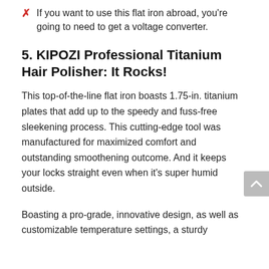If you want to use this flat iron abroad, you're going to need to get a voltage converter.
5. KIPOZI Professional Titanium Hair Polisher: It Rocks!
This top-of-the-line flat iron boasts 1.75-in. titanium plates that add up to the speedy and fuss-free sleekening process. This cutting-edge tool was manufactured for maximized comfort and outstanding smoothening outcome. And it keeps your locks straight even when it's super humid outside.
Boasting a pro-grade, innovative design, as well as customizable temperature settings, a sturdy